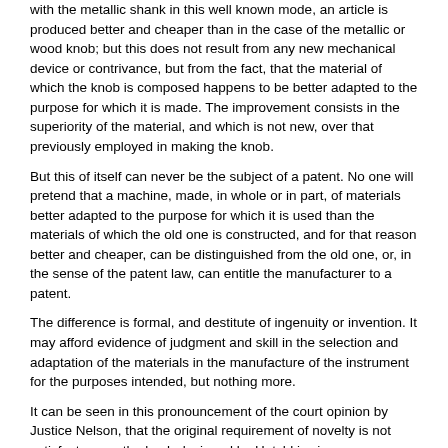with the metallic shank in this well known mode, an article is produced better and cheaper than in the case of the metallic or wood knob; but this does not result from any new mechanical device or contrivance, but from the fact, that the material of which the knob is composed happens to be better adapted to the purpose for which it is made. The improvement consists in the superiority of the material, and which is not new, over that previously employed in making the knob.
But this of itself can never be the subject of a patent. No one will pretend that a machine, made, in whole or in part, of materials better adapted to the purpose for which it is used than the materials of which the old one is constructed, and for that reason better and cheaper, can be distinguished from the old one, or, in the sense of the patent law, can entitle the manufacturer to a patent.
The difference is formal, and destitute of ingenuity or invention. It may afford evidence of judgment and skill in the selection and adaptation of the materials in the manufacture of the instrument for the purposes intended, but nothing more.
It can be seen in this pronouncement of the court opinion by Justice Nelson, that the original requirement of novelty is not satisfactory, as the knob designed by Hotchkiss is a new product. Although the term "nonobviousness" will not be developed for some time, the court's decision hinges on the fact that the mere substitution of better suited materials is too obvious and ordinary to constitute a patent. The decision makes clear of